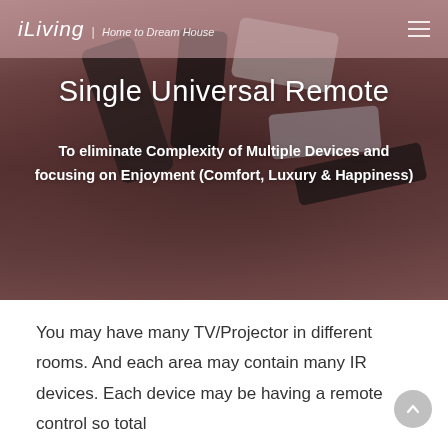iLiving | Home to Dream House
[Figure (photo): Person holding multiple TV remote controls against their body, wearing a red/pink sweater. Background is dark and blurred. Hero banner image for 'Single Universal Remote' section.]
Single Universal Remote
To eliminate Complexity of Multiple Devices and focusing on Enjoyment (Comfort, Luxury & Happiness)
You may have many TV/Projector in different rooms. And each area may contain many IR devices. Each device may be having a remote control so total